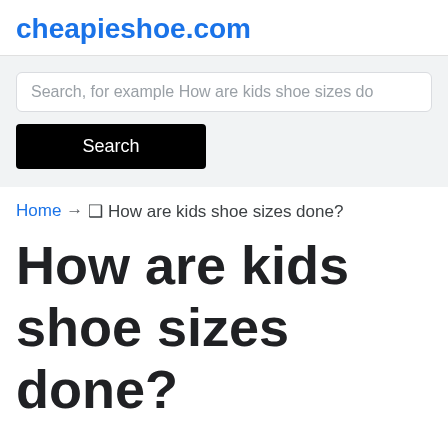cheapieshoe.com
Search, for example How are kids shoe sizes do
Search
Home → ❑ How are kids shoe sizes done?
How are kids shoe sizes done?